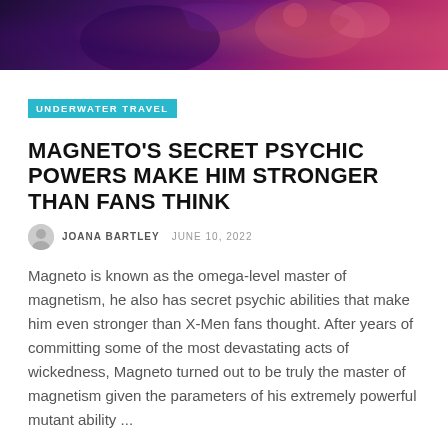[Figure (illustration): Comic-book style illustration of a dark superhero figure with purple and pink tones, dramatic lighting, appears to be Magneto]
UNDERWATER TRAVEL
MAGNETO'S SECRET PSYCHIC POWERS MAKE HIM STRONGER THAN FANS THINK
JOANA BARTLEY  JUNE 10, 2022
Magneto is known as the omega-level master of magnetism, he also has secret psychic abilities that make him even stronger than X-Men fans thought. After years of committing some of the most devastating acts of wickedness, Magneto turned out to be truly the master of magnetism given the parameters of his extremely powerful mutant ability ...
Read More